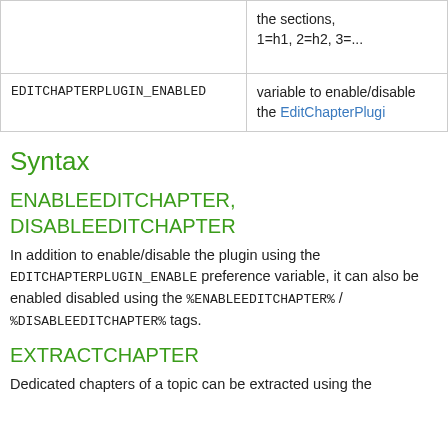|  |  |
| --- | --- |
|  | the sections, 1=h1, 2=h2, 3=... |
| EDITCHAPTERPLUGIN_ENABLED | variable to enable/disable the EditChapterPlugi... |
Syntax
ENABLEEDITCHAPTER, DISABLEEDITCHAPTER
In addition to enable/disable the plugin using the EDITCHAPTERPLUGIN_ENABLE preference variable, it can also be enabled disabled using the %ENABLEEDITCHAPTER% / %DISABLEEDITCHAPTER% tags.
EXTRACTCHAPTER
Dedicated chapters of a topic can be extracted using the